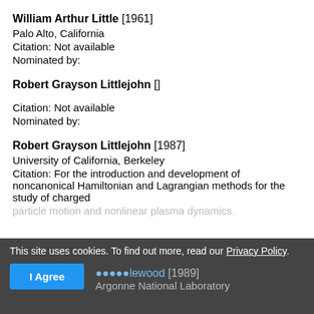William Arthur Little [1961]
Palo Alto, California
Citation: Not available
Nominated by:
Robert Grayson Littlejohn []
Citation: Not available
Nominated by:
Robert Grayson Littlejohn [1987]
University of California, Berkeley
Citation: For the introduction and development of noncanonical Hamiltonian and Lagrangian methods for the study of charged particle motion and nonlinear plasma dynamics.
This site uses cookies. To find out more, read our Privacy Policy.
[1989]
Argonne National Laboratory